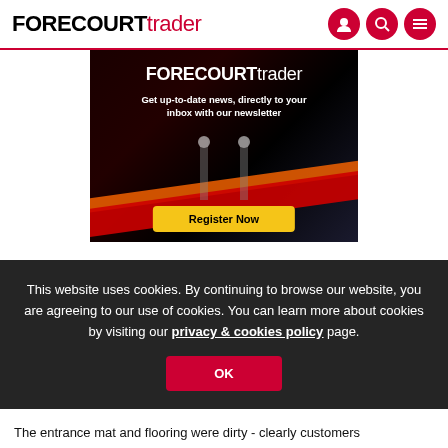FORECOURTtrader
[Figure (screenshot): FORECOURTtrader newsletter advertisement banner with dark background, red and orange stripes, logo text, tagline 'Get up-to-date news, directly to your inbox with our newsletter', and a yellow Register Now button]
This website uses cookies. By continuing to browse our website, you are agreeing to our use of cookies. You can learn more about cookies by visiting our privacy & cookies policy page.
The entrance mat and flooring were dirty - clearly customers